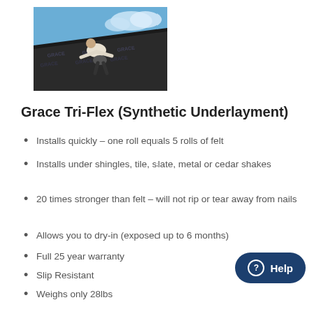[Figure (photo): A worker installing Grace underlayment on a roof, with blue sky in the background. The dark roofing material has 'GRACE' printed on it repeatedly.]
Grace Tri-Flex (Synthetic Underlayment)
Installs quickly – one roll equals 5 rolls of felt
Installs under shingles, tile, slate, metal or cedar shakes
20 times stronger than felt – will not rip or tear away from nails
Allows you to dry-in (exposed up to 6 months)
Full 25 year warranty
Slip Resistant
Weighs only 28lbs